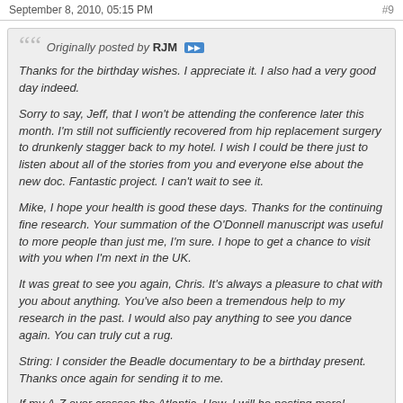September 8, 2010, 05:15 PM    #9
Originally posted by RJM [view icon]
Thanks for the birthday wishes. I appreciate it. I also had a very good day indeed.

Sorry to say, Jeff, that I won't be attending the conference later this month. I'm still not sufficiently recovered from hip replacement surgery to drunkenly stagger back to my hotel. I wish I could be there just to listen about all of the stories from you and everyone else about the new doc. Fantastic project. I can't wait to see it.

Mike, I hope your health is good these days. Thanks for the continuing fine research. Your summation of the O'Donnell manuscript was useful to more people than just me, I'm sure. I hope to get a chance to visit with you when I'm next in the UK.

It was great to see you again, Chris. It's always a pleasure to chat with you about anything. You've also been a tremendous help to my research in the past. I would also pay anything to see you dance again. You can truly cut a rug.

String: I consider the Beadle documentary to be a birthday present. Thanks once again for sending it to me.

If my A-Z ever crosses the Atlantic, How, I will be posting more!